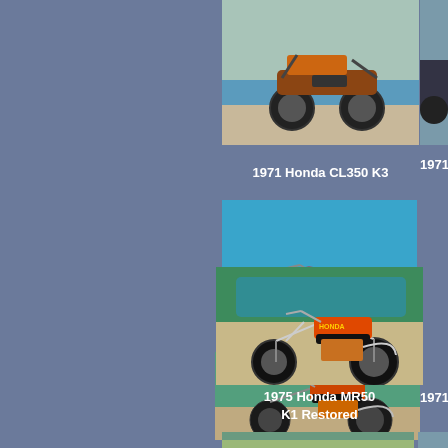[Figure (photo): 1971 Honda CL350 K3 motorcycle photo, side view, parked near pool area]
1971 Honda CL350 K3
[Figure (photo): Partially visible motorcycle photo on right side, 1971 model]
[Figure (photo): Motorcycle dirt bike photo near pool, white and red color scheme]
[Figure (photo): 1975 Honda MR50 K1 Restored, orange motorcycle near pool]
1975 Honda MR50
K1  Restored
1971 Hon
[Figure (photo): Bottom partial motorcycle photo]
[Figure (photo): Bottom right partial motorcycle photo]